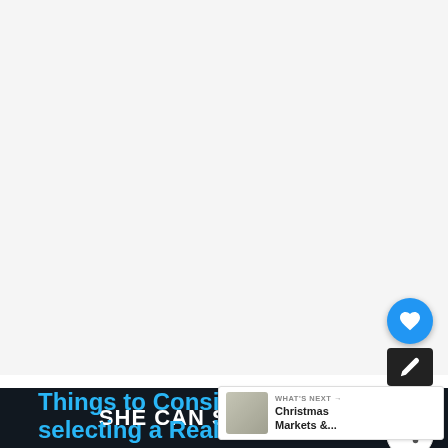[Figure (other): Large blank/whitespace image area at top of page (advertisement or hero image placeholder)]
Things to Consider when selecting a Real Christmas Tree...
Determine the location for your
SHE CAN STEM